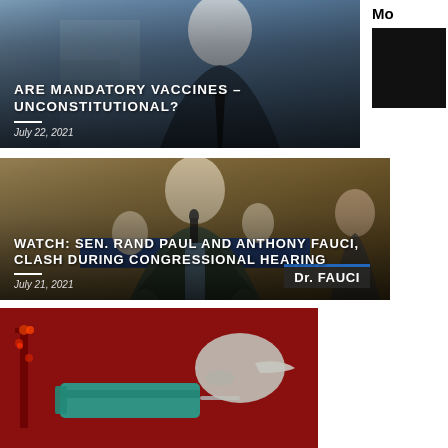[Figure (photo): News article card with photo of man in suit at hearing with overlaid text 'ARE MANDATORY VACCINES – UNCONSTITUTIONAL?' dated July 22, 2021]
[Figure (photo): News article card with photo of Dr. Anthony Fauci at congressional hearing with overlaid text 'WATCH: SEN. RAND PAUL AND ANTHONY FAUCI, CLASH DURING CONGRESSIONAL HEARING' dated July 21, 2021]
[Figure (photo): News article card with red background showing a syringe and gloved hand, partially visible third article card]
[Figure (photo): Sidebar showing 'Mo' text partially visible, indicating a 'More' section with a dark thumbnail image]